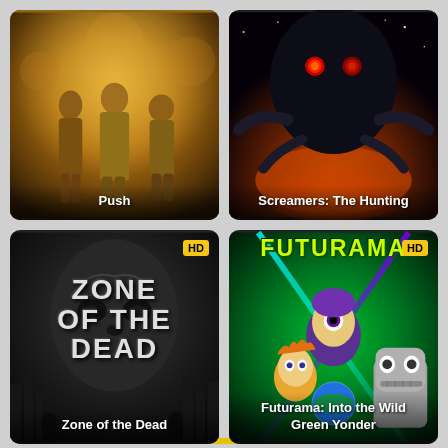[Figure (photo): Movie poster for Push showing three young people standing together in a dramatic orange/fire-lit scene]
Push
[Figure (photo): Movie poster for Screamers: The Hunting showing a dark alien creature with red eyes above a glowing planet]
Screamers: The Hunting
[Figure (photo): Movie poster for Zone of the Dead showing a dark zombie face with the title Zone of the Dead in distressed white lettering. HD badge visible.]
Zone of the Dead
[Figure (photo): Movie poster for Futurama: Into the Wild Green Yonder showing animated characters Leela, Fry, and Bender with green laser background. HD badge visible.]
Futurama: Into the Wild Green Yonder